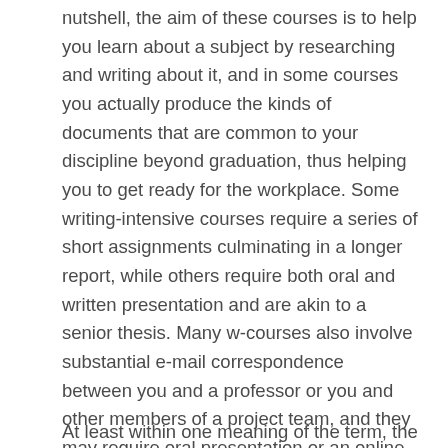nutshell, the aim of these courses is to help you learn about a subject by researching and writing about it, and in some courses you actually produce the kinds of documents that are common to your discipline beyond graduation, thus helping you to get ready for the workplace. Some writing-intensive courses require a series of short assignments culminating in a longer report, while others require both oral and written presentation and are akin to a senior thesis. Many w-courses also involve substantial e-mail correspondence between you and a professor or you and other members of a project team, and they may require oral presentation or an online portfolio. In any case, all writing-intensive courses provide you with ample opportunity to receive concrete feedback on your writing from your professor.
At least within one meaning of the term, the...